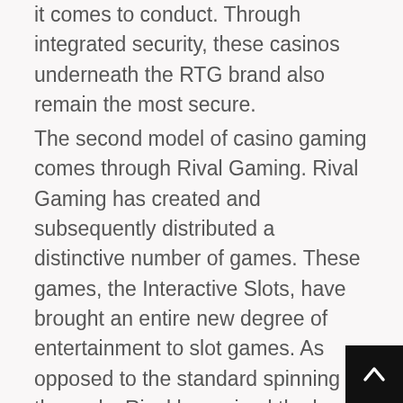it comes to conduct. Through integrated security, these casinos underneath the RTG brand also remain the most secure.
The second model of casino gaming comes through Rival Gaming. Rival Gaming has created and subsequently distributed a distinctive number of games. These games, the Interactive Slots, have brought an entire new degree of entertainment to slot games. As opposed to the standard spinning of the reels, Rival has raised the bar to the pinnacle of casino gaming. Their table games have already been exremely popular, bringing in players who seek only to play cards, dice, or other table based casino games. Though players outside the United States may benefit from the Interactive Slot, there is no international online casino that blocks American IP addresses that offers anything remotely just like the